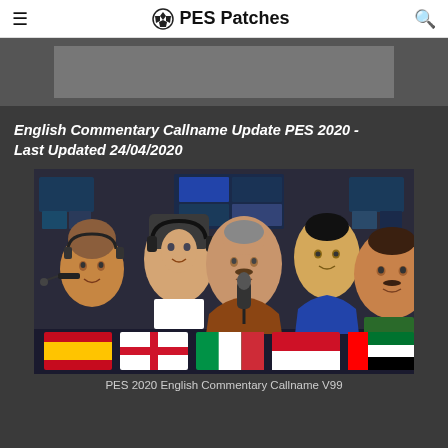PES Patches
[Figure (photo): Ad banner placeholder area with dark gray background]
English Commentary Callname Update PES 2020 - Last Updated 24/04/2020
[Figure (photo): Group photo of five sports commentators with national flags (Spain, England, Italy, Indonesia, UAE) shown at the bottom]
PES 2020 English Commentary Callname V99